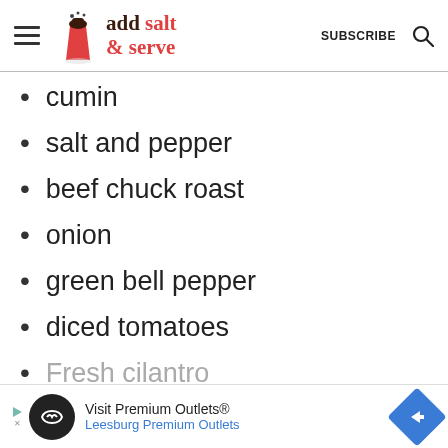add salt & serve — SUBSCRIBE
cumin
salt and pepper
beef chuck roast
onion
green bell pepper
diced tomatoes
Fresh cilantro
[Figure (screenshot): Advertisement banner: Visit Premium Outlets® — Leesburg Premium Outlets]